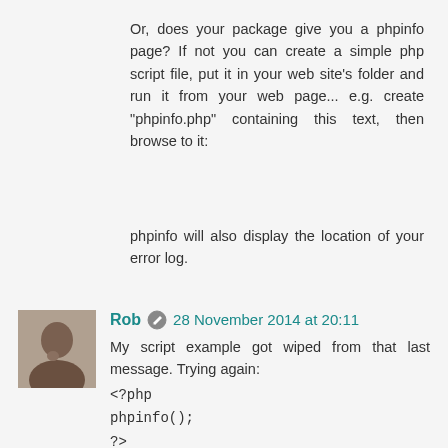Or, does your package give you a phpinfo page? If not you can create a simple php script file, put it in your web site's folder and run it from your web page... e.g. create "phpinfo.php" containing this text, then browse to it:
phpinfo will also display the location of your error log.
Rob  28 November 2014 at 20:11
My script example got wiped from that last message. Trying again:
<?php
phpinfo();
?>
Unknown  28 November 2014 at 20:48